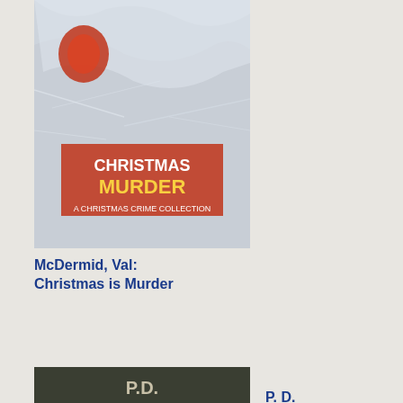[Figure (photo): Book cover: Christmas is Murder by Val McDermid, showing a red and white snowy/crumpled foil design with the title text]
McDermid, Val: Christmas is Murder
[Figure (photo): Book cover: The Private Patient by P.D. James, showing a dark moody landscape with a hand emerging]
P. D. James: The Private Patient
[Figure (photo): Book cover: Agatha by Mark Aldridge, showing Agatha Christie Poirot branding, red and white illustration]
Aldridge, Mark: Agatha
rep
a
hun
pun
Ric
grit
tee
too
on
a
life
of
the
own
as
she
suf
slig
afte
slig
at
the
har